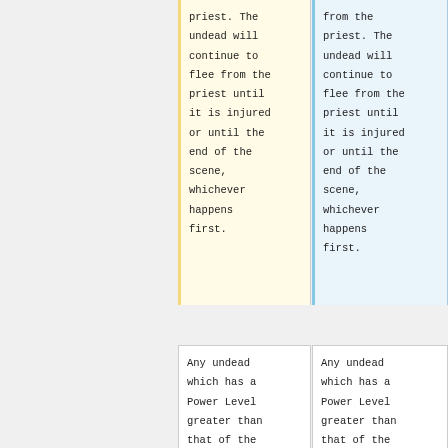priest. The undead will continue to flee from the priest until it is injured or until the end of the scene, whichever happens first.
from the priest. The undead will continue to flee from the priest until it is injured or until the end of the scene, whichever happens first.
Any undead which has a Power Level greater than that of the priest is immune to
Any undead which has a Power Level greater than that of the priest is immune to